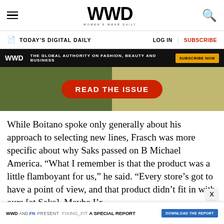WWD WOMEN'S WEAR DAILY
TODAY'S DIGITAL DAILY | LOG IN | SUBSCRIBE
[Figure (infographic): WWD banner ad: THE GLOBAL AUTHORITY ON FASHION, BEAUTY AND BUSINESS with SUBSCRIBE NOW button]
[Figure (infographic): READ THE ISSUE promotional button over outdoor event background]
While Boitano spoke only generally about his approach to selecting new lines, Frasch was more specific about why Saks passed on B Michael America. “What I remember is that the product was a little flamboyant for us,” he said. “Every store’s got to have a point of view, and that product didn’t fit in with ours [at Saks]. Maybe I’r
WWD AND FN PRESENT FIXING_FIT A SPECIAL REPORT DOWNLOAD THE REPORT